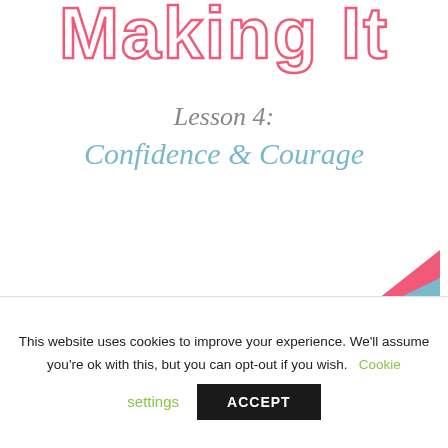Making It
Lesson 4: Confidence & Courage
[Figure (illustration): Diagonal rainbow-colored stripe lines (pink, blue/teal, yellow) running diagonally from upper right to lower left]
MakingItPodcourse.com
Do you feel confident when it comes to
This website uses cookies to improve your experience. We'll assume you're ok with this, but you can opt-out if you wish. Cookie settings ACCEPT